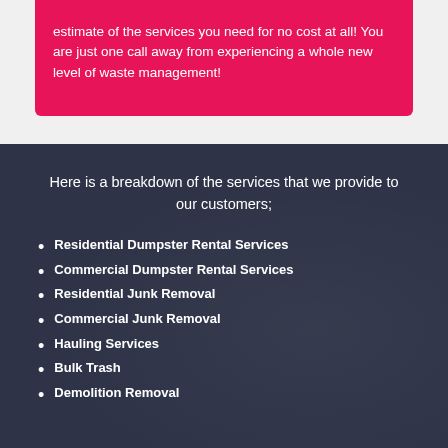estimate of the services you need for no cost at all! You are just one call away from experiencing a whole new level of waste management!
Here is a breakdown of the services that we provide to our customers;
Residential Dumpster Rental Services
Commercial Dumpster Rental Services
Residential Junk Removal
Commercial Junk Removal
Hauling Services
Bulk Trash
Demolition Removal